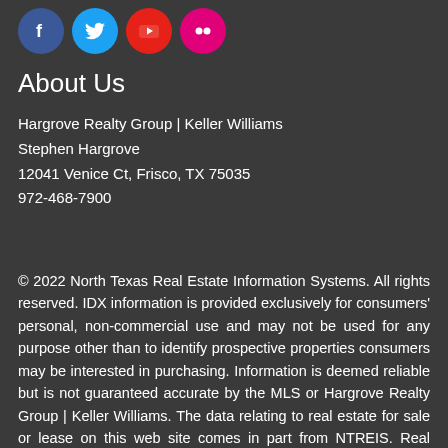[Figure (illustration): Four social media icons in circles: Facebook (blue), Twitter (light blue), YouTube (red), Flickr (pink)]
About Us
Hargrove Realty Group | Keller Williams
Stephen Hargrove
12041 Venice Ct, Frisco, TX 75035
972-468-7900
© 2022 North Texas Real Estate Information Systems. All rights reserved. IDX information is provided exclusively for consumers' personal, non-commercial use and may not be used for any purpose other than to identify prospective properties consumers may be interested in purchasing. Information is deemed reliable but is not guaranteed accurate by the MLS or Hargrove Realty Group | Keller Williams. The data relating to real estate for sale or lease on this web site comes in part from NTREIS. Real estate listings held by brokerage firms other than Hargrove Realty Group | Keller Williams are marked with the NTREIS logo or an